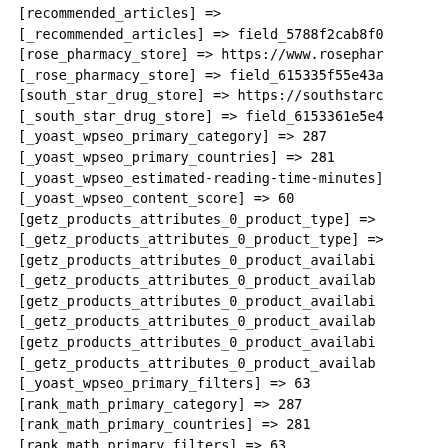[recommended_articles] =>
[_recommended_articles] => field_5788f2cab8f0
[rose_pharmacy_store] => https://www.rosephar
[_rose_pharmacy_store] => field_615335f55e43a
[south_star_drug_store] => https://southstarc
[_south_star_drug_store] => field_6153361e5e4
[_yoast_wpseo_primary_category] => 287
[_yoast_wpseo_primary_countries] => 281
[_yoast_wpseo_estimated-reading-time-minutes]
[_yoast_wpseo_content_score] => 60
[getz_products_attributes_0_product_type] =>
[_getz_products_attributes_0_product_type] =>
[getz_products_attributes_0_product_availabi
[_getz_products_attributes_0_product_availab
[getz_products_attributes_0_product_availabi
[_getz_products_attributes_0_product_availab
[getz_products_attributes_0_product_availabi
[_getz_products_attributes_0_product_availab
[_yoast_wpseo_primary_filters] => 63
[rank_math_primary_category] => 287
[rank_math_primary_countries] => 281
[rank_math_primary_filters] => 63
[rank_math_news_sitemap_robots] => index
[rank_math_robots] => Array
    (
        [0] => index
    )

[rank_math_analytic_object_id] => 11
[rank_math_internal_links_processed] => 1